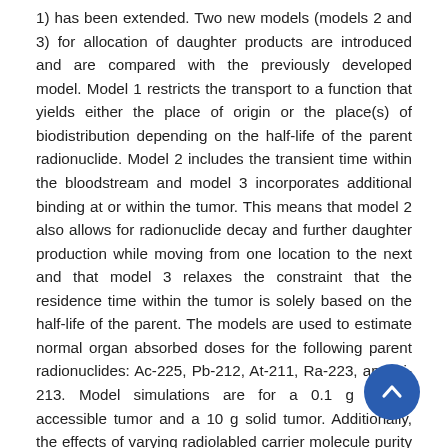1) has been extended. Two new models (models 2 and 3) for allocation of daughter products are introduced and are compared with the previously developed model. Model 1 restricts the transport to a function that yields either the place of origin or the place(s) of biodistribution depending on the half-life of the parent radionuclide. Model 2 includes the transient time within the bloodstream and model 3 incorporates additional binding at or within the tumor. This means that model 2 also allows for radionuclide decay and further daughter production while moving from one location to the next and that model 3 relaxes the constraint that the residence time within the tumor is solely based on the half-life of the parent. The models are used to estimate normal organ absorbed doses for the following parent radionuclides: Ac-225, Pb-212, At-211, Ra-223, and Bi-213. Model simulations are for a 0.1 g rapidly accessible tumor and a 10 g solid tumor. Additionally, the effects of varying radiolabled carrier molecule purity and amount of carrier molecules, as well as tumor cell antigen saturation are examined. The results indicate that there is a distinct advantage in using parent radionuclides such as Ac-225 or Ra-223, each having a half-life of more than 10 days and yielding four alpha particles per parent decay, in that lower doses to normal organs result from parent radionuclide transport to the non-diseased tissue.
[Figure (other): A circular blue scroll-to-top button with a white upward chevron arrow, positioned in the lower right area of the page.]